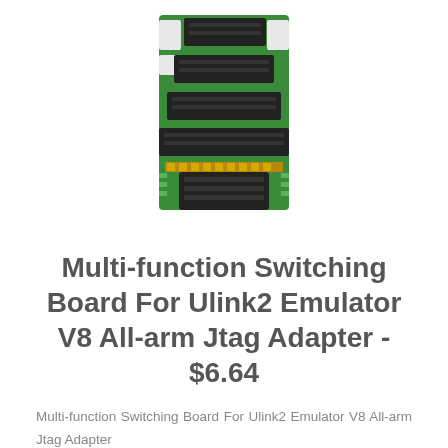[Figure (photo): Photo of a green multi-function switching board PCB with multiple black JTAG connectors/headers arranged in a stepped layout, with a black connector at the bottom.]
Multi-function Switching Board For Ulink2 Emulator V8 All-arm Jtag Adapter - $6.64
Multi-function Switching Board For Ulink2 Emulator V8 All-arm Jtag Adapter
14pin 2.54.